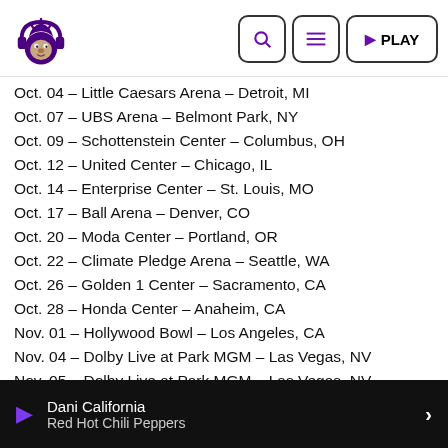Monkey Radio logo and navigation buttons (search, menu, play)
Oct. 04 – Little Caesars Arena – Detroit, MI
Oct. 07 – UBS Arena – Belmont Park, NY
Oct. 09 – Schottenstein Center – Columbus, OH
Oct. 12 – United Center – Chicago, IL
Oct. 14 – Enterprise Center – St. Louis, MO
Oct. 17 – Ball Arena – Denver, CO
Oct. 20 – Moda Center – Portland, OR
Oct. 22 – Climate Pledge Arena – Seattle, WA
Oct. 26 – Golden 1 Center – Sacramento, CA
Oct. 28 – Honda Center – Anaheim, CA
Nov. 01 – Hollywood Bowl – Los Angeles, CA
Nov. 04 – Dolby Live at Park MGM – Las Vegas, NV
Nov. 05 – Dolby Live at Park MGM – Las Vegas, NV
* Not a Live Nation date
Dani California / Red Hot Chili Peppers